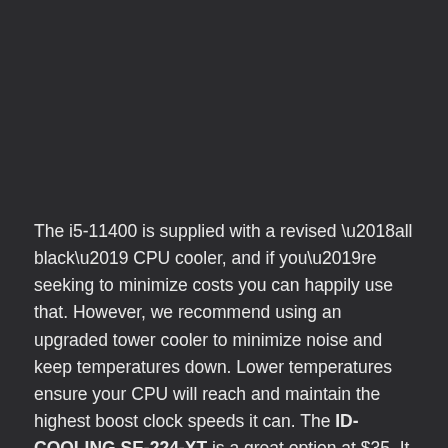The i5-11400 is supplied with a revised ‘all black’ CPU cooler, and if you’re seeking to minimize costs you can happily use that. However, we recommend using an upgraded tower cooler to minimize noise and keep temperatures down. Lower temperatures ensure your CPU will reach and maintain the highest boost clock speeds it can. The ID-COOLING SE-224-XT is a great option at $35. It performs well with 4 heat pipes and an efficient fan, and the cost is lower than some competitors, and it comes with a tube of thermal paste so you can attach and refit it without buying more. It’s a great buy.